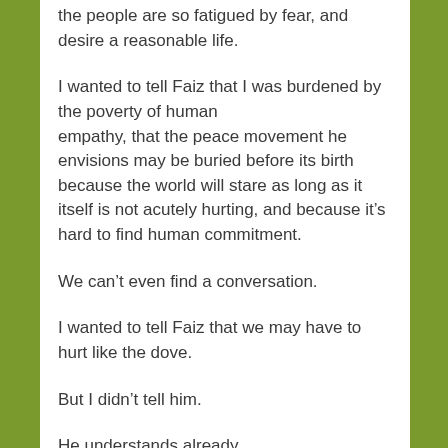the people are so fatigued by fear, and desire a reasonable life.
I wanted to tell Faiz that I was burdened by the poverty of human empathy, that the peace movement he envisions may be buried before its birth because the world will stare as long as it itself is not acutely hurting, and because it’s hard to find human commitment.
We can’t even find a conversation.
I wanted to tell Faiz that we may have to hurt like the dove.
But I didn’t tell him.
He understands already.